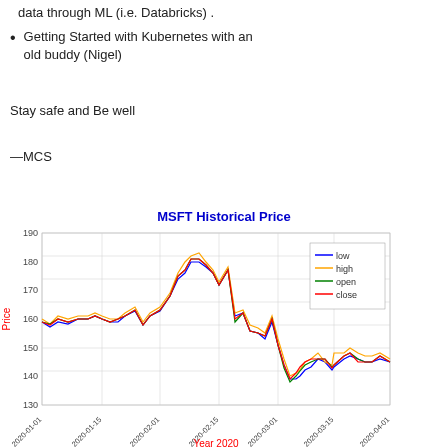data through ML (i.e. Databricks) .
Getting Started with Kubernetes with an old buddy (Nigel)
Stay safe and Be well
—MCS
[Figure (line-chart): Line chart showing MSFT historical price from 2020-01-01 to 2020-04-01, with four series: low (blue), high (orange), open (green), close (red). Prices range from approximately 130 to 190.]